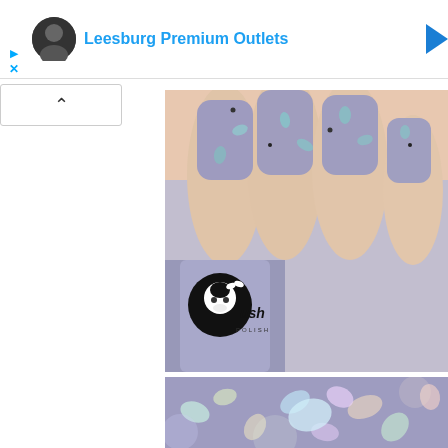[Figure (screenshot): Ad banner for Leesburg Premium Outlets with blue triangle play icon, X icon, circular profile photo, outlet name in cyan/blue text, and blue right-pointing chevron]
[Figure (photo): Close-up photo of manicured nails painted in dusty lavender/periwinkle polish with holographic glitter flakes, a nail polish bottle with a logo of a girl's face (ush polish brand) in the lower left]
[Figure (photo): Close-up macro photo of nail showing glitter flakes in lavender polish with iridescent holographic confetti-style glitter pieces reflecting rainbow colors]